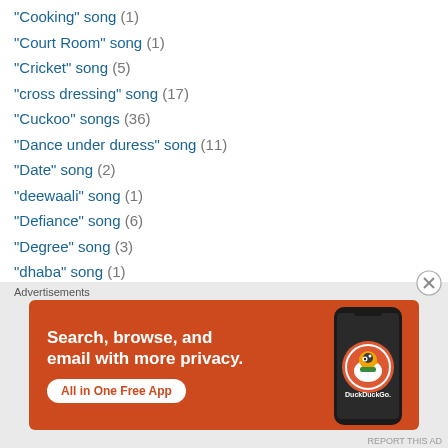"Cooking" song (1)
"Court Room" song (1)
"Cricket" song (5)
"cross dressing" song (17)
"Cuckoo" songs (36)
"Dance under duress" song (11)
"Date" song (2)
"deewaali" song (1)
"Defiance" song (6)
"Degree" song (3)
"dhaba" song (1)
"Dheere dheere" song (5)
"Dholak" song (3)
"dilemma" song (20)
[Figure (infographic): DuckDuckGo advertisement banner on orange background. Text: 'Search, browse, and email with more privacy. All in One Free App' with a phone image and DuckDuckGo logo.]